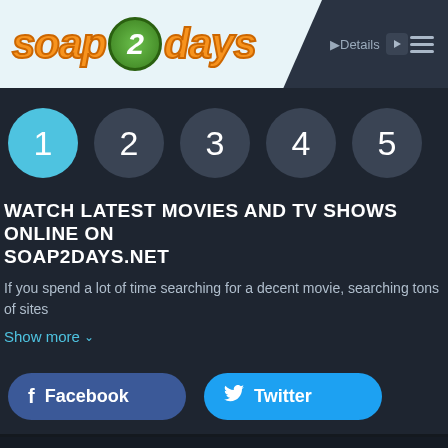soap2days - Details
[Figure (other): Pagination circles showing numbers 1 (active, highlighted in blue), 2, 3, 4, 5 (inactive, dark grey)]
WATCH LATEST MOVIES AND TV SHOWS ONLINE ON SOAP2DAYS.NET
If you spend a lot of time searching for a decent movie, searching tons of sites
Show more ∨
[Figure (other): Facebook and Twitter social share buttons]
© SOAP2DAYS.NET - WATCH ALL LATEST MOVIES ONLINE & TV SERIES ONLINE FOR FREE
Disclaimer: This site does not store any files on its server. All contents are provided by non-affiliated third parties.